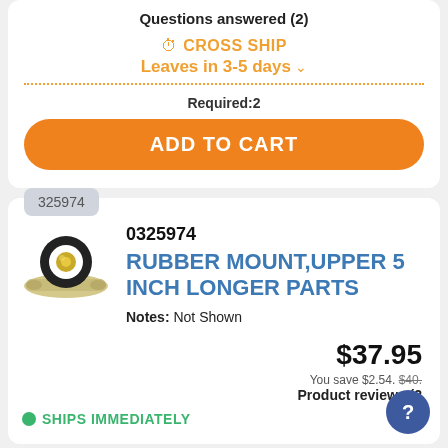Questions answered (2)
CROSS SHIP
Leaves in 3-5 days
Required: 2
ADD TO CART
325974
0325974
RUBBER MOUNT,UPPER 5 INCH LONGER PARTS
Notes: Not Shown
$37.95
You save $2.54. $40.
Product reviews (2
SHIPS IMMEDIATELY